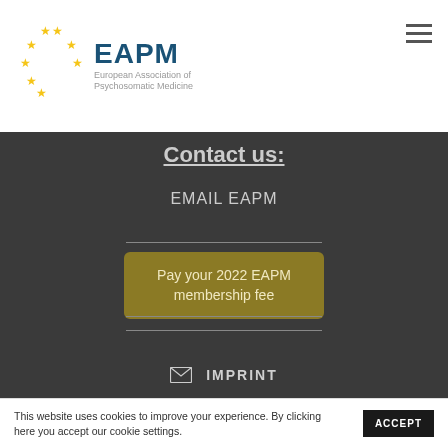[Figure (logo): EAPM logo with EU-style stars circle and text 'EAPM — European Association of Psychosomatic Medicine']
Contact us:
EMAIL EAPM
Pay your 2022 EAPM membership fee
IMPRINT
This website uses cookies to improve your experience. By clicking here you accept our cookie settings.
ACCEPT